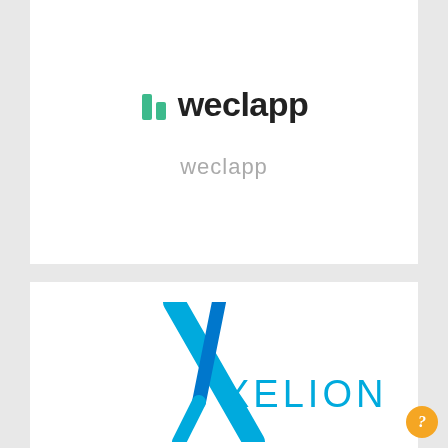[Figure (logo): weclapp logo — two green bar-chart bars icon followed by the word 'weclapp' in bold dark text]
weclapp
[Figure (logo): Xelion logo — large blue stylized X shape with the word XELION in blue letters]